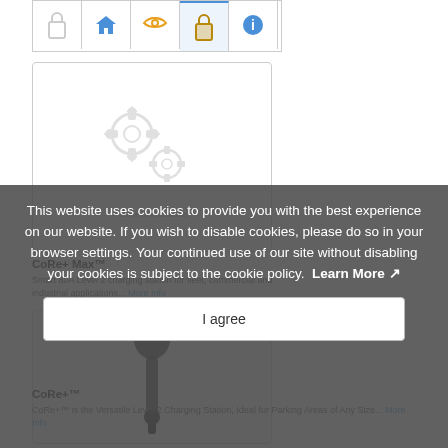[Figure (screenshot): Navigation bar with icons: lock/privacy, home, wifi, lock (active/highlighted), info button]
[Figure (screenshot): Product image placeholder showing two gear icons and text 'Picture not available.']
CoRe+ Max™
Smart 80A Level 2 charging station for fleet, commercial and industrial applications... More Info
[Figure (photo): EV charging cable/connector product image]
This website uses cookies to provide you with the best experience on our website. If you wish to disable cookies, please do so in your browser settings. Your continued use of our site without disabling your cookies is subject to the cookie policy. Learn More
I agree
CoRe+™
CoRe+™ is the Versatile Level 2 Charging Station, Ideal for Parking Areas of Any Size... More Info